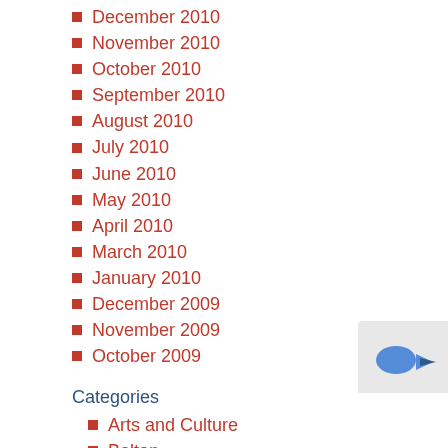December 2010
November 2010
October 2010
September 2010
August 2010
July 2010
June 2010
May 2010
April 2010
March 2010
January 2010
December 2009
November 2009
October 2009
Categories
Arts and Culture
Bolton